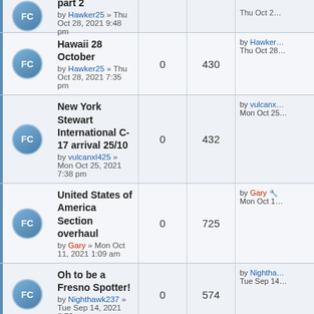|  | Topic | Replies | Views | Last post |
| --- | --- | --- | --- | --- |
| FC | part 2
by Hawker25 » Thu Oct 28, 2021 9:48 pm |  |  | Thu Oct 2… |
| FC | Hawaii 28 October
by Hawker25 » Thu Oct 28, 2021 7:35 pm | 0 | 430 | by Hawker… Thu Oct 28… |
| FC | New York Stewart International C-17 arrival 25/10
by vulcanxl425 » Mon Oct 25, 2021 7:38 pm | 0 | 432 | by vulcanx… Mon Oct 25… |
| FC | United States of America Section overhaul
by Gary » Mon Oct 11, 2021 1:09 am | 0 | 725 | by Gary… Mon Oct 1… |
| FC | Oh to be a Fresno Spotter!
by Nighthawk237 » Tue Sep 14, 2021 8:56 pm | 0 | 574 | by Nightha… Tue Sep 14… |
| FC | Detroit A330 Voyager arrival 14/8/21
by vulcanxl425 » Sun Aug 15, 2021 10:34 am | 1 | 827 | by vulcanx… Sun Aug 15… |
| FC | C-17A arrival Anchorage Alaska 8/8/21 | 2 | 476 | by vulcanx… Sat Aug 14… |